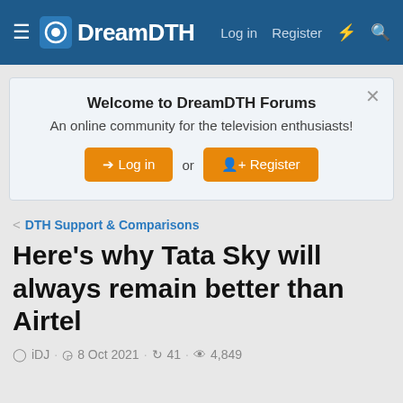DreamDTH — Log in  Register
Welcome to DreamDTH Forums
An online community for the television enthusiasts!
Log in  or  Register
< DTH Support & Comparisons
Here's why Tata Sky will always remain better than Airtel
iDJ · 8 Oct 2021 · 41 · 4,849